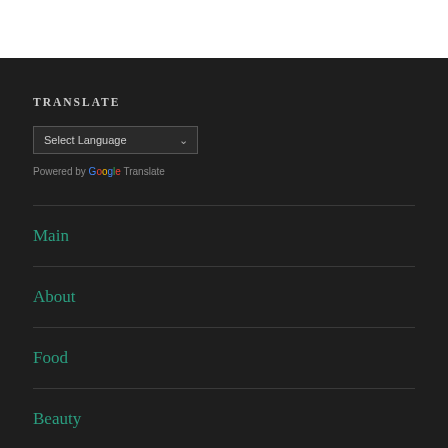TRANSLATE
[Figure (screenshot): Language selector dropdown with 'Select Language' placeholder and chevron, followed by 'Powered by Google Translate' attribution]
Main
About
Food
Beauty